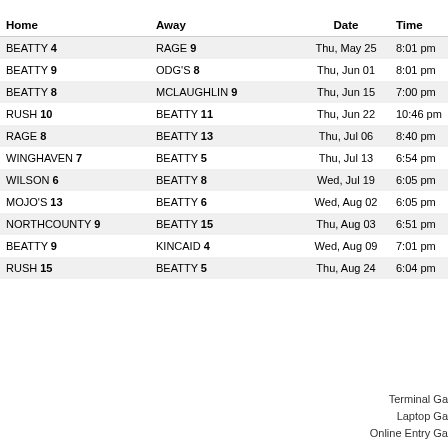| Home | Away | Date | Time |  |
| --- | --- | --- | --- | --- |
| BEATTY 4 | RAGE 9 | Thu, May 25 | 8:01 pm |  |
| BEATTY 9 | ODG'S 8 | Thu, Jun 01 | 8:01 pm |  |
| BEATTY 8 | MCLAUGHLIN 9 | Thu, Jun 15 | 7:00 pm |  |
| RUSH 10 | BEATTY 11 | Thu, Jun 22 | 10:46 pm |  |
| RAGE 8 | BEATTY 13 | Thu, Jul 06 | 8:40 pm |  |
| WINGHAVEN 7 | BEATTY 5 | Thu, Jul 13 | 6:54 pm |  |
| WILSON 6 | BEATTY 8 | Wed, Jul 19 | 6:05 pm |  |
| MOJO'S 13 | BEATTY 6 | Wed, Aug 02 | 6:05 pm |  |
| NORTHCOUNTY 9 | BEATTY 15 | Thu, Aug 03 | 6:51 pm |  |
| BEATTY 9 | KINCAID 4 | Wed, Aug 09 | 7:01 pm |  |
| RUSH 15 | BEATTY 5 | Thu, Aug 24 | 6:04 pm |  |
Terminal Ga
Laptop Ga
Online Entry Ga